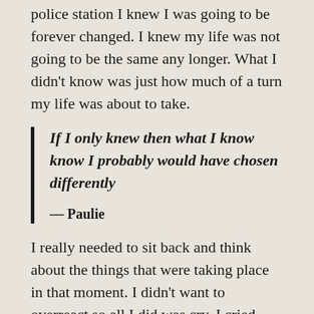police station I knew I was going to be forever changed. I knew my life was not going to be the same any longer. What I didn't know was just how much of a turn my life was about to take.
If I only knew then what I know know I probably would have chosen differently
— Paulie
I really needed to sit back and think about the things that were taking place in that moment. I didn't want to overreact so all I did was cry. I cried until I had no more tears to shed. I couldn't be angry, I couldn't be upset, I was my hurt and devastated more than anything and on top of all of that, I had no one to talk to. I